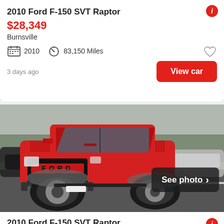2010 Ford F-150 SVT Raptor
$28,349
Burnsville
2010   83,150 Miles
3 days ago
[Figure (photo): Red 2010 Ford F-150 SVT Raptor truck parked in a lot, front three-quarter view, with other vehicles visible in the background. Dark sky and trees behind. 'See photo >' overlay in bottom right.]
2010 Ford F-150 SVT Raptor
$29,967
Somerset